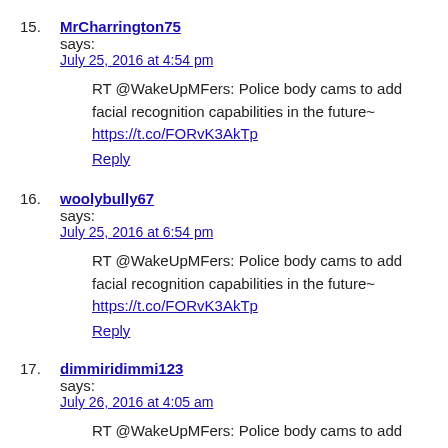15. MrCharrington75 says:
July 25, 2016 at 4:54 pm

RT @WakeUpMFers: Police body cams to add facial recognition capabilities in the future~
https://t.co/FORvK3AkTp
Reply
16. woolybully67 says:
July 25, 2016 at 6:54 pm

RT @WakeUpMFers: Police body cams to add facial recognition capabilities in the future~
https://t.co/FORvK3AkTp
Reply
17. dimmiridimmi123 says:
July 26, 2016 at 4:05 am

RT @WakeUpMFers: Police body cams to add facial